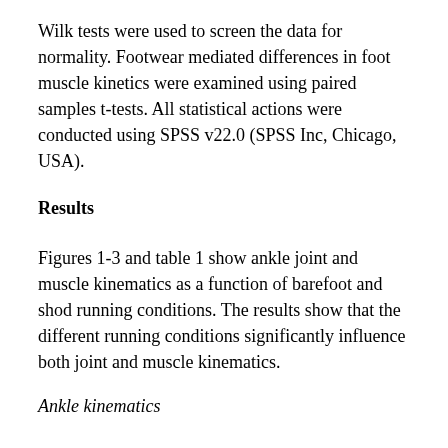Wilk tests were used to screen the data for normality. Footwear mediated differences in foot muscle kinetics were examined using paired samples t-tests. All statistical actions were conducted using SPSS v22.0 (SPSS Inc, Chicago, USA).
Results
Figures 1-3 and table 1 show ankle joint and muscle kinematics as a function of barefoot and shod running conditions. The results show that the different running conditions significantly influence both joint and muscle kinematics.
Ankle kinematics
The ankle was found to be significantly (t (11) = 4.51, p<0.05) more plantarflexed at footstrike